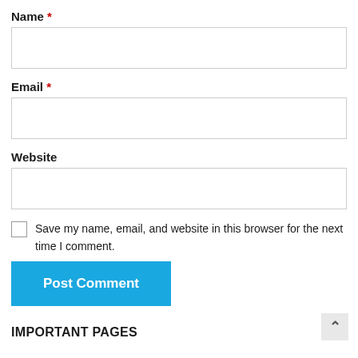Name *
[Figure (other): Empty text input field for Name]
Email *
[Figure (other): Empty text input field for Email]
Website
[Figure (other): Empty text input field for Website]
Save my name, email, and website in this browser for the next time I comment.
Post Comment
IMPORTANT PAGES